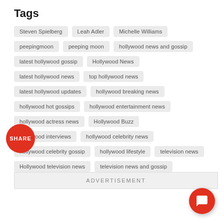Tags
Steven Spielberg
Leah Adler
Michelle Williams
peepingmoon
peeping moon
hollywood news and gossip
latest hollywood gossip
Hollywood News
latest hollywood news
top hollywood news
latest hollywood updates
hollywood breaking news
hollywood hot gossips
hollywood entertainment news
hollywood actress news
Hollywood Buzz
hollywood interviews
hollywood celebrity news
hollywood celebrity gossip
hollywood lifestyle
television news
Hollywood television news
television news and gossip
ADVERTISEMENT